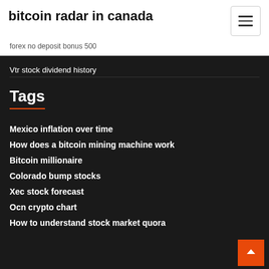bitcoin radar in canada
forex no deposit bonus 500
Vtr stock dividend history
Tags
Mexico inflation over time
How does a bitcoin mining machine work
Bitcoin millionaire
Colorado bump stocks
Xec stock forecast
Ocn crypto chart
How to understand stock market quora